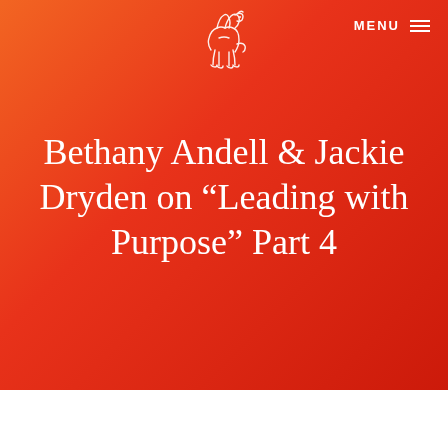[Figure (logo): White sketch-style camel or animal logo centered at top on orange-red gradient background]
MENU ≡
Bethany Andell & Jackie Dryden on “Leading with Purpose” Part 4